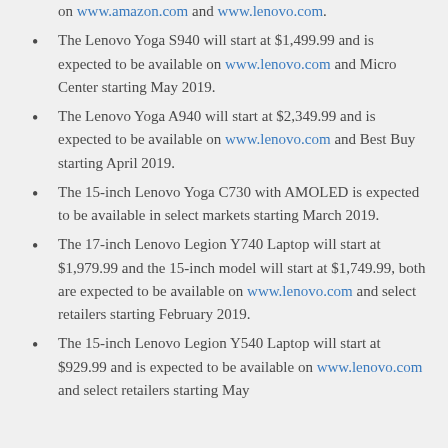on www.amazon.com and www.lenovo.com.
The Lenovo Yoga S940 will start at $1,499.99 and is expected to be available on www.lenovo.com and Micro Center starting May 2019.
The Lenovo Yoga A940 will start at $2,349.99 and is expected to be available on www.lenovo.com and Best Buy starting April 2019.
The 15-inch Lenovo Yoga C730 with AMOLED is expected to be available in select markets starting March 2019.
The 17-inch Lenovo Legion Y740 Laptop will start at $1,979.99 and the 15-inch model will start at $1,749.99, both are expected to be available on www.lenovo.com and select retailers starting February 2019.
The 15-inch Lenovo Legion Y540 Laptop will start at $929.99 and is expected to be available on www.lenovo.com and select retailers starting May